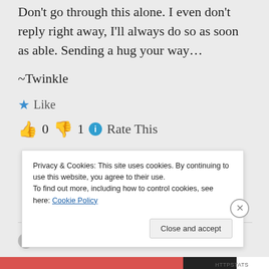Don't go through this alone. I even don't reply right away, I'll always do so as soon as able. Sending a hug your way…
~Twinkle
Like
👍 0 👎 1 ℹ Rate This
Privacy & Cookies: This site uses cookies. By continuing to use this website, you agree to their use. To find out more, including how to control cookies, see here: Cookie Policy
Close and accept